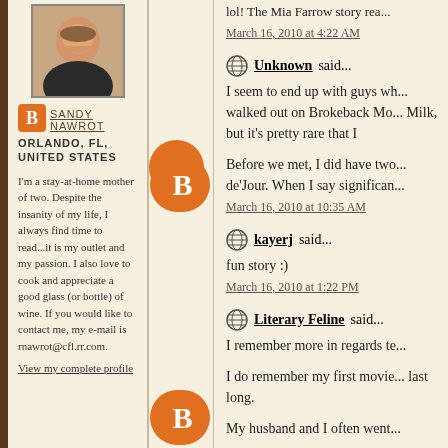[Figure (photo): Profile photo of Sandy Nawrot, a smiling woman]
SANDY NAWROT
ORLANDO, FL, UNITED STATES
I'm a stay-at-home mother of two. Despite the insanity of my life, I always find time to read...it is my outlet and my passion. I also love to cook and appreciate a good glass (or bottle) of wine. If you would like to contact me, my e-mail is rnawrot@cfl.rr.com.
View my complete profile
lol! The Mia Farrow story rea...
March 16, 2010 at 4:22 AM
Unknown said...
I seem to end up with guys wh... walked out on Brokeback Mo... Milk, but it's pretty rare that I
Before we met, I did have tw... de'Jour. When I say significan...
March 16, 2010 at 10:35 AM
kayerj said...
fun story :)
March 16, 2010 at 1:22 PM
Literary Feline said...
I remember more in regards te...
I do remember my first movie... last long.
My husband and I often went...